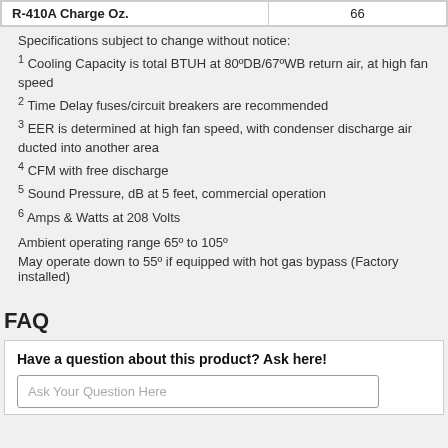| R-410A Charge Oz. |  |
| --- | --- |
| R-410A Charge Oz. | 66 |
Specifications subject to change without notice:
1 Cooling Capacity is total BTUH at 80ºDB/67ºWB return air, at high fan speed
2 Time Delay fuses/circuit breakers are recommended
3 EER is determined at high fan speed, with condenser discharge air ducted into another area
4 CFM with free discharge
5 Sound Pressure, dB at 5 feet, commercial operation
6 Amps & Watts at 208 Volts
Ambient operating range 65º to 105º
May operate down to 55º if equipped with hot gas bypass (Factory installed)
FAQ
Have a question about this product? Ask here!
Ask Your Question Here